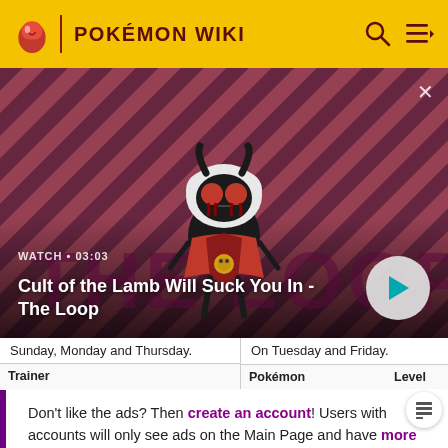POKÉMON WIKI
[Figure (screenshot): Video thumbnail showing Cult of the Lamb character on striped red/pink background with 'THE LOOP' text overlay. Watch time 03:03. Title: Cult of the Lamb Will Suck You In - The Loop]
| Trainer | Pokémon | Level | Trainer | Pokémon |
| --- | --- | --- | --- | --- |
| Sunday, Monday and Thursday. |  |  | On Tuesday and Friday. |  |
Don't like the ads? Then create an account! Users with accounts will only see ads on the Main Page and have more options than anonymous users.